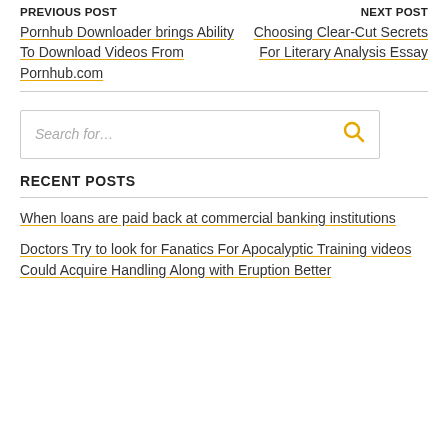PREVIOUS POST
Pornhub Downloader brings Ability To Download Videos From Pornhub.com
NEXT POST
Choosing Clear-Cut Secrets For Literary Analysis Essay
Search for...
RECENT POSTS
When loans are paid back at commercial banking institutions
Doctors Try to look for Fanatics For Apocalyptic Training videos Could Acquire Handling Along with Eruption Better